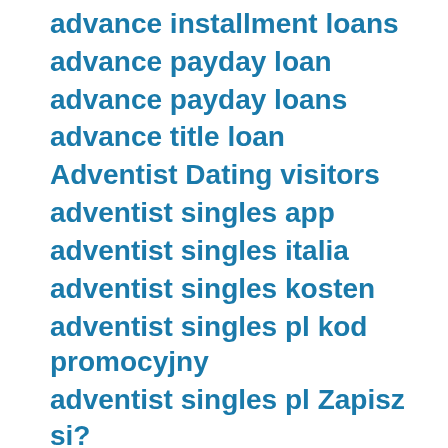advance installment loans
advance payday loan
advance payday loans
advance title loan
Adventist Dating visitors
adventist singles app
adventist singles italia
adventist singles kosten
adventist singles pl kod promocyjny
adventist singles pl Zapisz si?
adventist singles search